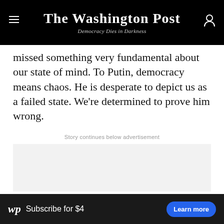The Washington Post — Democracy Dies in Darkness
missed something very fundamental about our state of mind. To Putin, democracy means chaos. He is desperate to depict us as a failed state. We're determined to prove him wrong.
Story continues below advertisement
[Figure (other): Advertisement placeholder box (gray background)]
wp Subscribe for $4  Learn more